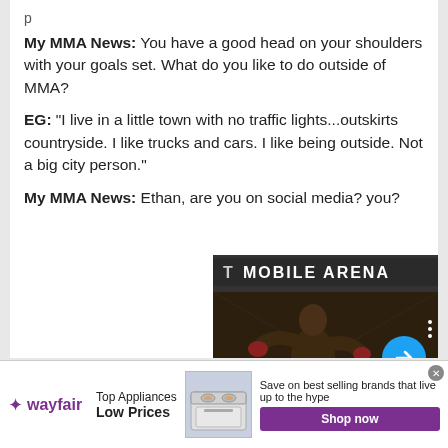My MMA News: You have a good head on your shoulders with your goals set. What do you like to do outside of MMA?
EG: “I live in a little town with no traffic lights…outskirts countryside. I like trucks and cars. I like being outside. Not a big city person.”
My MMA News: Ethan, are you on social media you?
[Figure (photo): MMA fighter in fighting stance inside octagon cage, arena banner visible above reading T-MOBILE ARENA, with a blue arrow button overlay and Kevin Holland caption]
Kevin Holland announces he’s
[Figure (infographic): Wayfair advertisement banner: Top Appliances Low Prices, showing stove/range appliance image, Save on best selling brands that live up to the hype, Shop now button]